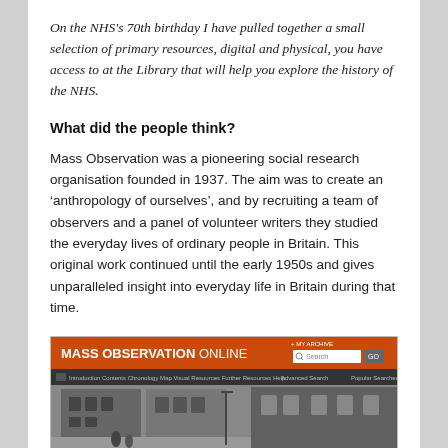On the NHS's 70th birthday I have pulled together a small selection of primary resources, digital and physical, you have access to at the Library that will help you explore the history of the NHS.
What did the people think?
Mass Observation was a pioneering social research organisation founded in 1937. The aim was to create an ‘anthropology of ourselves’, and by recruiting a team of observers and a panel of volunteer writers they studied the everyday lives of ordinary people in Britain. This original work continued until the early 1950s and gives unparalleled insight into everyday life in Britain during that time.
[Figure (screenshot): Screenshot of the Mass Observation Online website, showing an orange header bar with 'MASS OBSERVATION ONLINE' in bold white text and a search box, a dark navigation bar with menu items, and below that a black and white photograph of a British terraced street scene.]